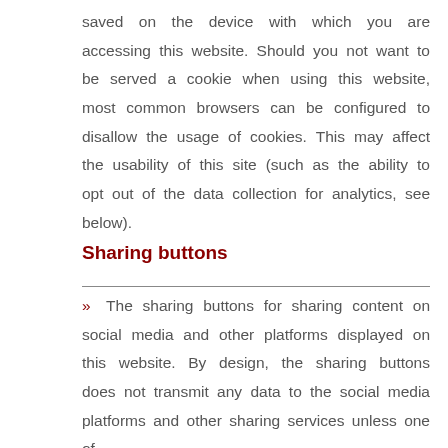saved on the device with which you are accessing this website. Should you not want to be served a cookie when using this website, most common browsers can be configured to disallow the usage of cookies. This may affect the usability of this site (such as the ability to opt out of the data collection for analytics, see below).
Sharing buttons
» The sharing buttons for sharing content on social media and other platforms displayed on this website. By design, the sharing buttons does not transmit any data to the social media platforms and other sharing services unless one of